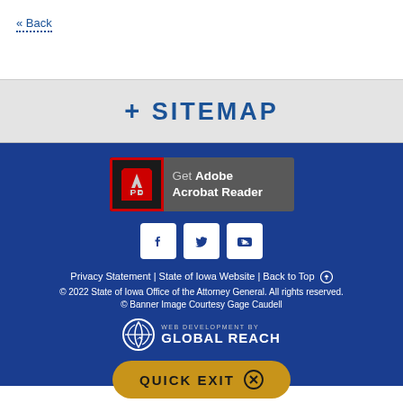« Back
+ SITEMAP
[Figure (logo): Get Adobe Acrobat Reader banner with red-bordered Adobe icon on dark background]
[Figure (infographic): Social media icons: Facebook, Twitter, YouTube in white squares]
Privacy Statement | State of Iowa Website | Back to Top ⬆
© 2022 State of Iowa Office of the Attorney General. All rights reserved.
© Banner Image Courtesy Gage Caudell
[Figure (logo): Global Reach logo - WEB DEVELOPMENT BY GLOBAL REACH]
QUICK EXIT ⊗